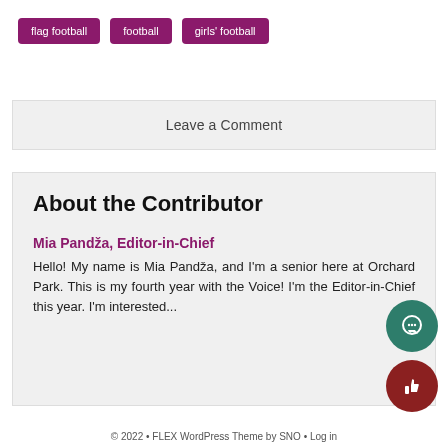flag football
football
girls' football
Leave a Comment
About the Contributor
Mia Pandža, Editor-in-Chief
Hello! My name is Mia Pandža, and I'm a senior here at Orchard Park. This is my fourth year with the Voice! I'm the Editor-in-Chief this year. I'm interested...
© 2022 • FLEX WordPress Theme by SNO • Log in